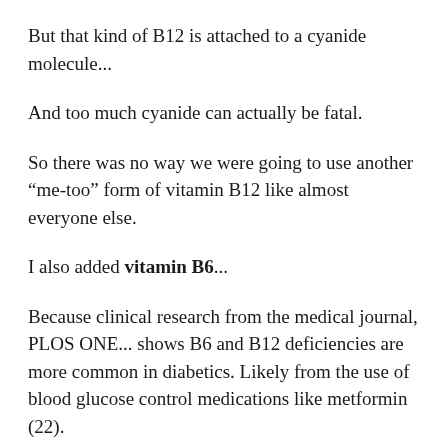But that kind of B12 is attached to a cyanide molecule...
And too much cyanide can actually be fatal.
So there was no way we were going to use another “me-too” form of vitamin B12 like almost everyone else.
I also added vitamin B6...
Because clinical research from the medical journal, PLOS ONE... shows B6 and B12 deficiencies are more common in diabetics. Likely from the use of blood glucose control medications like metformin (22).